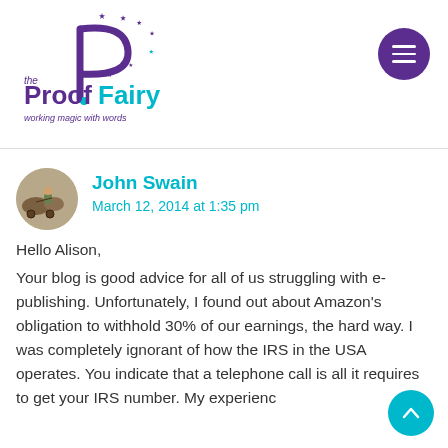[Figure (logo): The Proof Fairy logo — decorative letter P with stars, purple and teal colors, tagline 'working magic with words']
John Swain
March 12, 2014 at 1:35 pm
Hello Alison,
Your blog is good advice for all of us struggling with e-publishing. Unfortunately, I found out about Amazon's obligation to withhold 30% of our earnings, the hard way. I was completely ignorant of how the IRS in the USA operates. You indicate that a telephone call is all it requires to get your IRS number. My experience...